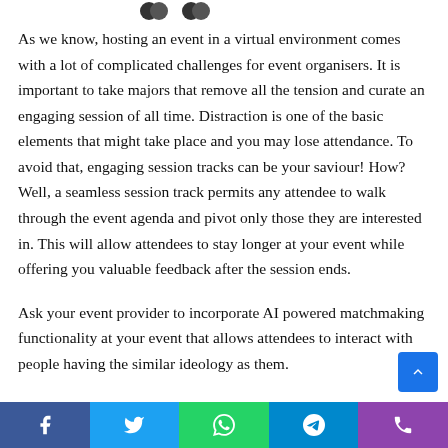As we know, hosting an event in a virtual environment comes with a lot of complicated challenges for event organisers. It is important to take majors that remove all the tension and curate an engaging session of all time. Distraction is one of the basic elements that might take place and you may lose attendance. To avoid that, engaging session tracks can be your saviour! How? Well, a seamless session track permits any attendee to walk through the event agenda and pivot only those they are interested in. This will allow attendees to stay longer at your event while offering you valuable feedback after the session ends.
Ask your event provider to incorporate AI powered matchmaking functionality at your event that allows attendees to interact with people having the similar ideology as them.
[Figure (infographic): Social media share buttons bar at the bottom: Facebook (blue), Twitter (light blue), WhatsApp (green), Telegram (blue), Phone (purple)]